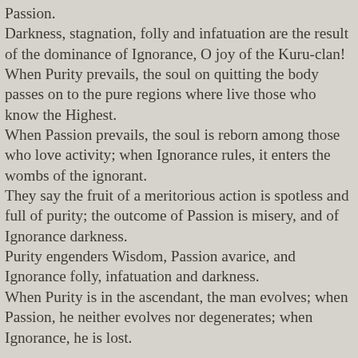Passion.
Darkness, stagnation, folly and infatuation are the result of the dominance of Ignorance, O joy of the Kuru-clan!
When Purity prevails, the soul on quitting the body passes on to the pure regions where live those who know the Highest.
When Passion prevails, the soul is reborn among those who love activity; when Ignorance rules, it enters the wombs of the ignorant.
They say the fruit of a meritorious action is spotless and full of purity; the outcome of Passion is misery, and of Ignorance darkness.
Purity engenders Wisdom, Passion avarice, and Ignorance folly, infatuation and darkness.
When Purity is in the ascendant, the man evolves; when Passion, he neither evolves nor degenerates; when Ignorance, he is lost.